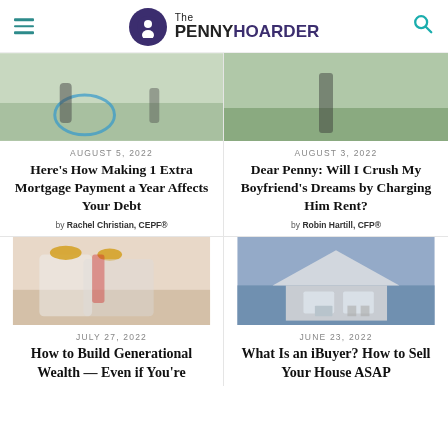The PENNY HOARDER
[Figure (photo): Two people playing with a hula hoop outdoors on pavement]
[Figure (photo): Person walking barefoot through tall grass field]
AUGUST 5, 2022
Here’s How Making 1 Extra Mortgage Payment a Year Affects Your Debt
by Rachel Christian, CEPF®
AUGUST 3, 2022
Dear Penny: Will I Crush My Boyfriend’s Dreams by Charging Him Rent?
by Robin Hartill, CFP®
[Figure (photo): Woman and child wearing crowns sitting on a bed, playing pretend royalty]
[Figure (photo): Suburban house exterior at dusk with lights on and two-car garage]
JULY 27, 2022
How to Build Generational Wealth — Even if You’re
JUNE 23, 2022
What Is an iBuyer? How to Sell Your House ASAP